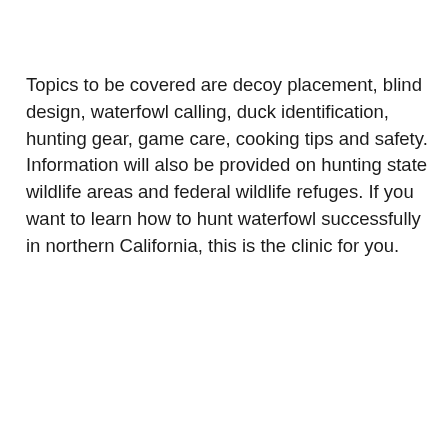Topics to be covered are decoy placement, blind design, waterfowl calling, duck identification, hunting gear, game care, cooking tips and safety. Information will also be provided on hunting state wildlife areas and federal wildlife refuges. If you want to learn how to hunt waterfowl successfully in northern California, this is the clinic for you.